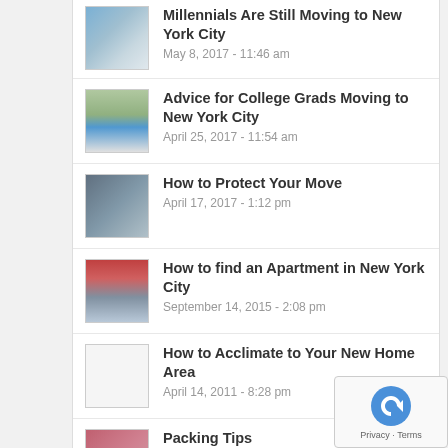Millennials Are Still Moving to New York City
May 8, 2017 - 11:46 am
Advice for College Grads Moving to New York City
April 25, 2017 - 11:54 am
How to Protect Your Move
April 17, 2017 - 1:12 pm
How to find an Apartment in New York City
September 14, 2015 - 2:08 pm
How to Acclimate to Your New Home Area
April 14, 2011 - 8:28 pm
Packing Tips
July 14, 2011 - 8:31 pm
Recent
Comments
[Figure (logo): reCAPTCHA logo with Privacy - Terms text]